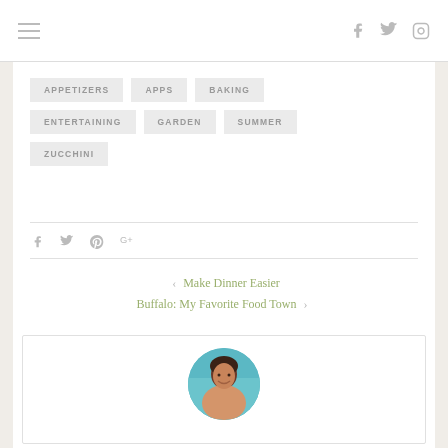Navigation header with hamburger menu and social icons (Facebook, Twitter, Instagram)
APPETIZERS
APPS
BAKING
ENTERTAINING
GARDEN
SUMMER
ZUCCHINI
Social share icons: Facebook, Twitter, Pinterest, Google+
< Make Dinner Easier
Buffalo: My Favorite Food Town >
[Figure (photo): Circular author photo of a woman with dark hair, smiling, with a beach/ocean background]